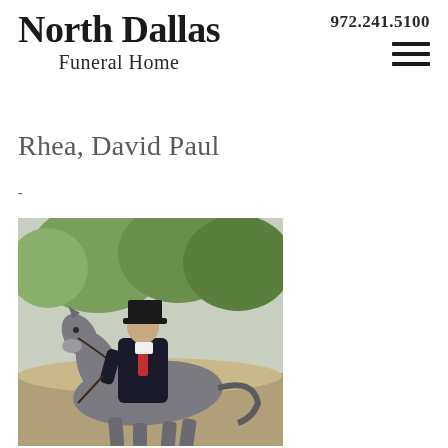North Dallas Funeral Home | 972.241.5100
Rhea, David Paul
-
[Figure (photo): Man in dark suit and black top hat riding a grey horse outdoors, trees in background]